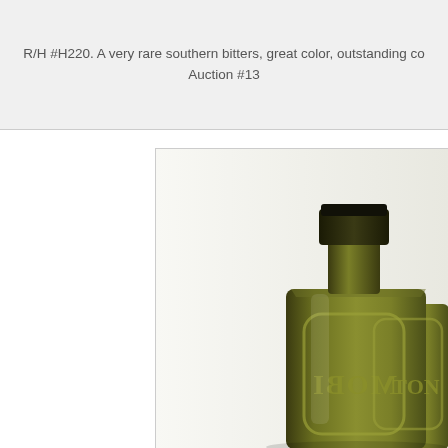R/H #H220. A very rare southern bitters, great color, outstanding co... Auction #13
[Figure (photo): An antique dark olive-green glass bitters bottle with embossed lettering reading 'MOBI' (Mobile) and 'TON' visible on the faceted rectangular body, with a short dark collar top, photographed against a light background.]